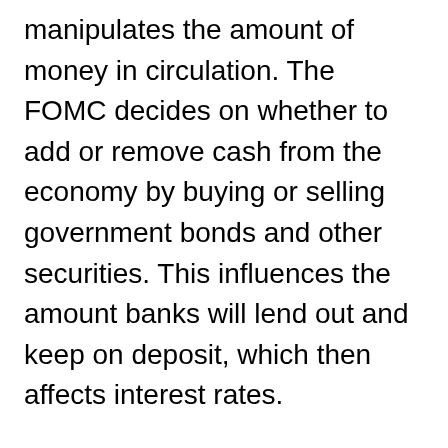manipulates the amount of money in circulation. The FOMC decides on whether to add or remove cash from the economy by buying or selling government bonds and other securities. This influences the amount banks will lend out and keep on deposit, which then affects interest rates.
That being said, where the misconception holds some truth is